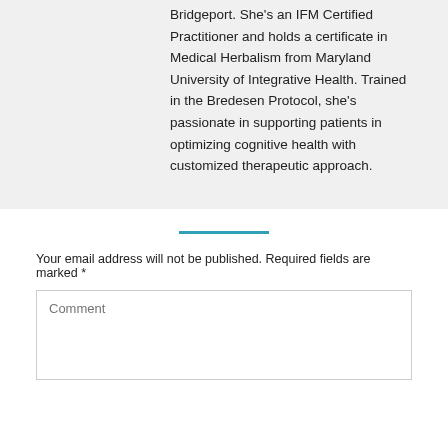Bridgeport. She's an IFM Certified Practitioner and holds a certificate in Medical Herbalism from Maryland University of Integrative Health. Trained in the Bredesen Protocol, she's passionate in supporting patients in optimizing cognitive health with customized therapeutic approach.
Your email address will not be published. Required fields are marked *